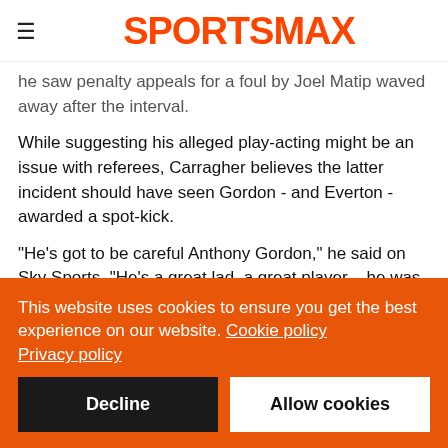SPORTSMAX
he saw penalty appeals for a foul by Joel Matip waved away after the interval.
While suggesting his alleged play-acting might be an issue with referees, Carragher believes the latter incident should have seen Gordon - and Everton - awarded a spot-kick.
"He's got to be careful Anthony Gordon," he said on Sky Sports. "He's a great lad, a great player – he was one of the best players on the pitch [on Sunday], caused Liverpool all sorts of problems.
This website uses cookies to ensure you get the best experience on our website. Cookie policy Privacy policy
Decline
Allow cookies